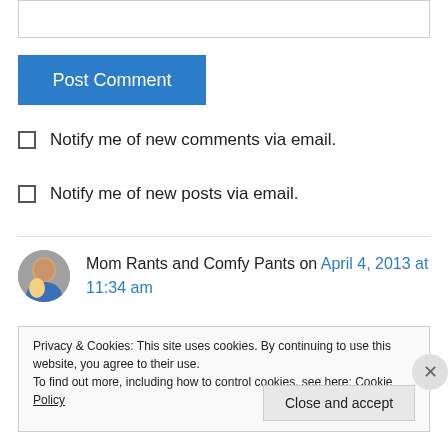[Figure (other): Empty text input box at the top of the comment form]
Post Comment
Notify me of new comments via email.
Notify me of new posts via email.
Mom Rants and Comfy Pants on April 4, 2013 at 11:34 am
Privacy & Cookies: This site uses cookies. By continuing to use this website, you agree to their use.
To find out more, including how to control cookies, see here: Cookie Policy
Close and accept